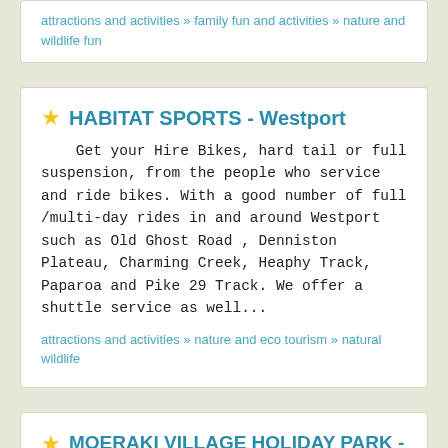attractions and activities » family fun and activities » nature and wildlife fun
HABITAT SPORTS - Westport
Get your Hire Bikes, hard tail or full suspension, from the people who service and ride bikes. With a good number of full /multi-day rides in and around Westport such as Old Ghost Road , Denniston Plateau, Charming Creek, Heaphy Track, Paparoa and Pike 29 Track. We offer a shuttle service as well...
attractions and activities » nature and eco tourism » natural wildlife
MOERAKI VILLAGE HOLIDAY PARK - Moeraki, South Oamaru